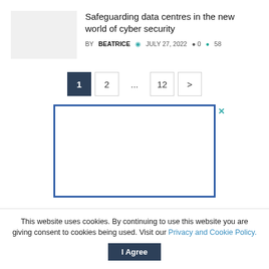Safeguarding data centres in the new world of cyber security
BY BEATRICE  JULY 27, 2022  0  58
1  2  ...  12  >
[Figure (other): Advertisement box with blue border and close button]
This website uses cookies. By continuing to use this website you are giving consent to cookies being used. Visit our Privacy and Cookie Policy.